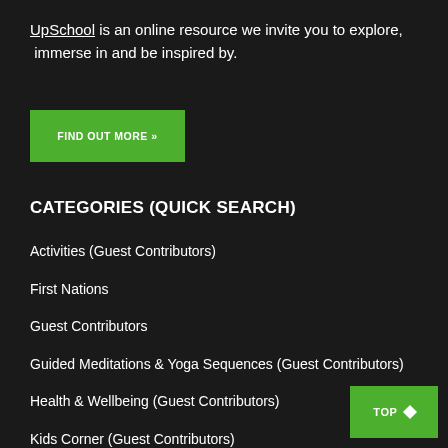UpSchool is an online resource we invite you to explore, immerse in and be inspired by.
[Figure (other): Green button with text FIND OUT MORE >>]
CATEGORIES (QUICK SEARCH)
Activities (Guest Contributors)
First Nations
Guest Contributors
Guided Meditations & Yoga Sequences (Guest Contributors)
Health & Wellbeing (Guest Contributors)
Kids Corner (Guest Contributors)
Languages
[Figure (other): Green button with text TOP and diamond icon]